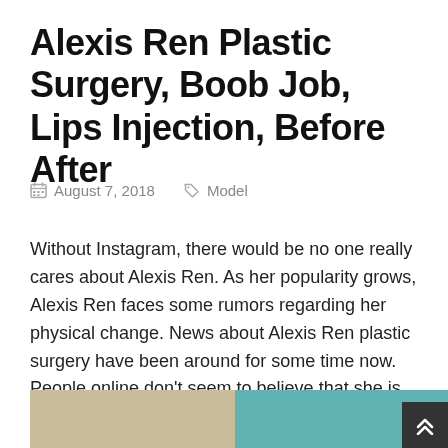Alexis Ren Plastic Surgery, Boob Job, Lips Injection, Before After
August 7, 2018    Model
Without Instagram, there would be no one really cares about Alexis Ren. As her popularity grows, Alexis Ren faces some rumors regarding her physical change. News about Alexis Ren plastic surgery have been around for some time now. People online don't seem to believe that she is natural anymore. She has probably undergone some cosmetic surgery procedures.
[Figure (photo): Side-by-side before and after photos of Alexis Ren — left photo shows her with blonde hair outdoors, right photo shows her with dark hair at an event with teal background]